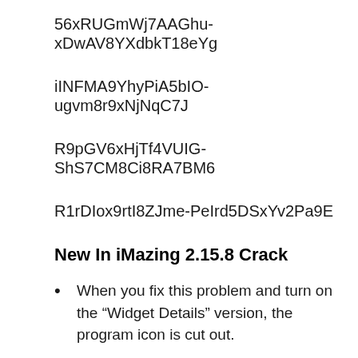56xRUGmWj7AAGhu-xDwAV8YXdbkT18eYg
iINFMA9YhyPiA5bIO-ugvm8r9xNjNqC7J
R9pGV6xHjTf4VUIG-ShS7CM8Ci8RA7BM6
R1rDIox9rtI8ZJme-PeIrd5DSxYv2Pa9E
New In iMazing 2.15.8 Crack
When you fix this problem and turn on the “Widget Details” version, the program icon is cut out.
Fixed some unusual bugs
Fixed an unusual issue with new Windows and Mac, found my iPhone was wrong